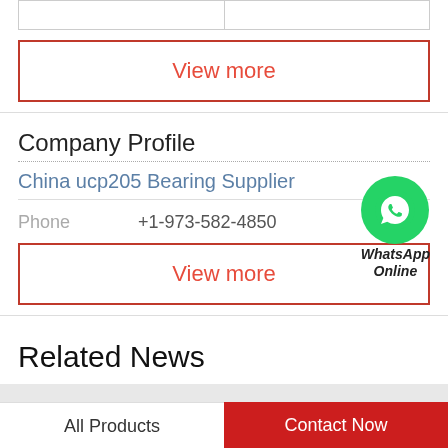|  |
View more
Company Profile
China ucp205 Bearing Supplier
Phone   +1-973-582-4850
[Figure (logo): WhatsApp Online green circle icon with phone handset, labeled WhatsApp Online]
View more
Related News
All Products
Contact Now